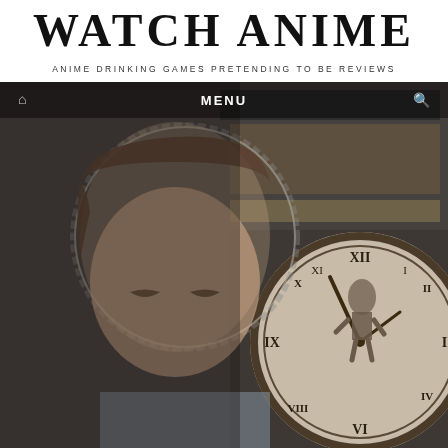WATCH ANIME
ANIME DRINKING GAMES PRETENDING TO BE REVIEWS
[Figure (screenshot): Website screenshot showing an anime blog header with a large banner image. The banner features a drawn anime male character with brown hair on the left side, and a large antique clock with Roman numerals on the right side. A figure appears to be clinging to the clock face. A Japanese railway station sign is visible in the background. A navigation bar overlays the top of the image with a home icon on the left, MENU in the center, and a search icon on the right.]